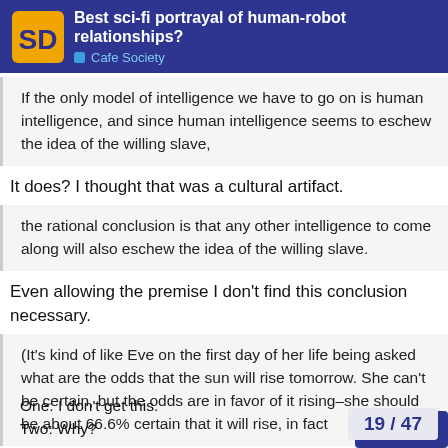Best sci-fi portrayal of human-robot relationships? — Cafe Society
If the only model of intelligence we have to go on is human intelligence, and since human intelligence seems to eschew the idea of the willing slave,
It does? I thought that was a cultural artifact.
the rational conclusion is that any other intelligence to come along will also eschew the idea of the willing slave.
Even allowing the premise I don't find this conclusion necessary.
(It's kind of like Eve on the first day of her life being asked what are the odds that the sun will rise tomorrow. She can't be certain, but the odds are in favor of it rising–she should be about 66.6% certain that it will rise, in fact
One: I don't get this.
Two: Why?
19 / 47